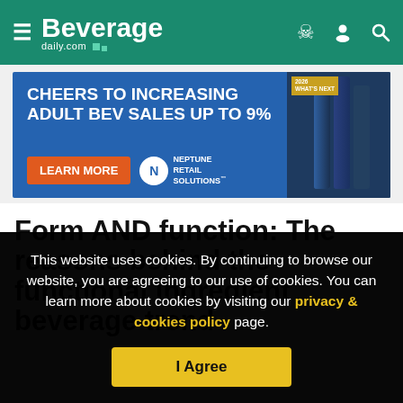Beverage daily.com
[Figure (other): Advertisement banner: CHEERS TO INCREASING ADULT BEV SALES UP TO 9% — LEARN MORE — Neptune Retail Solutions logo — bottles image]
Form AND function: The reasons behind the functional ingredient beverage trend
This website uses cookies. By continuing to browse our website, you are agreeing to our use of cookies. You can learn more about cookies by visiting our privacy & cookies policy page.
I Agree